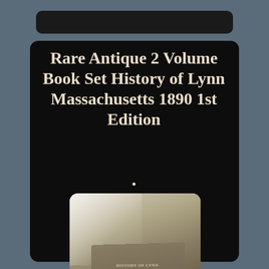Rare Antique 2 Volume Book Set History of Lynn Massachusetts 1890 1st Edition
[Figure (photo): Photo of an antique book titled 'History of Lynn, Volume II' by James R. Newhall, showing the cover of the book at an angle against a light background.]